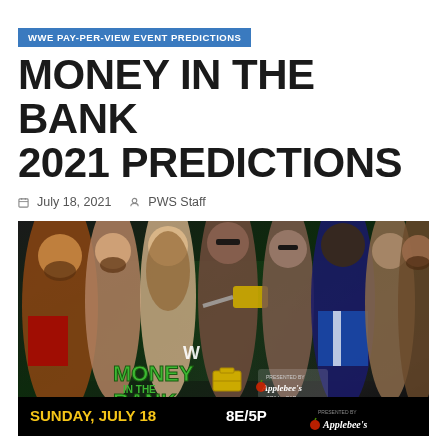WWE PAY-PER-VIEW EVENT PREDICTIONS
MONEY IN THE BANK 2021 PREDICTIONS
July 18, 2021   PWS Staff
[Figure (photo): WWE Money in the Bank 2021 promotional image featuring wrestlers including Kevin Owens, Drew McIntyre, Riddle, Ricochet, The Miz, Big E, Shinsuke Nakamura, Seth Rollins. Text reads: MONEY IN THE BANK, SUNDAY, JULY 18, 8E/5P, presented by Applebee's Grill + Bar]